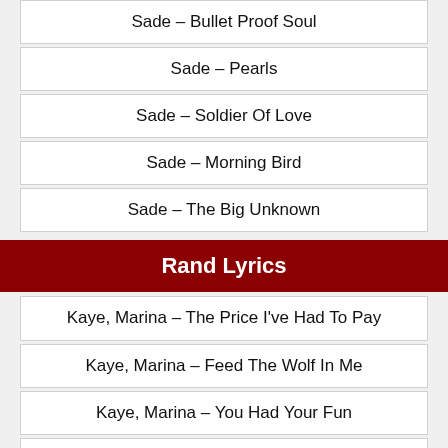Sade – Bullet Proof Soul
Sade – Pearls
Sade – Soldier Of Love
Sade – Morning Bird
Sade – The Big Unknown
Rand Lyrics
Kaye, Marina – The Price I've Had To Pay
Kaye, Marina – Feed The Wolf In Me
Kaye, Marina – You Had Your Fun
Kaye, Marina – Won't Be Here This Time